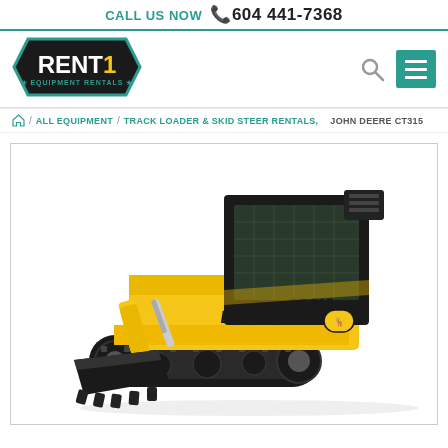CALL US NOW  604 441-7368
[Figure (logo): RENT1 Equipment Rentals logo — black hexagonal shape with teal border, white text RENT1 in large bold font with yellow 1, and teal text EQUIPMENT RENTALS below with stars]
ALL EQUIPMENT  /  TRACK LOADER & SKID STEER RENTALS,  JOHN DEERE CT315
[Figure (photo): John Deere CT315 compact track loader / skid steer in yellow and black color scheme, facing left, with a bucket attachment, on a white background. Model text DEERE CT315 visible on the body.]